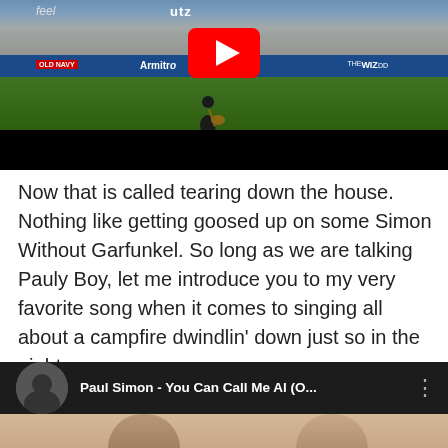[Figure (screenshot): YouTube video thumbnail showing a performer playing guitar on a baseball field/stadium, with a YouTube play button overlay. Stadium advertisements visible including Utz and Armitron signs.]
Now that is called tearing down the house.  Nothing like getting goosed up on some Simon Without Garfunkel.  So long as we are talking Pauly Boy, let me introduce you to my very favorite song when it comes to singing all about a campfire dwindlin' down just so in the night.
[Figure (screenshot): YouTube video thumbnail for 'Paul Simon - You Can Call Me Al (O...' showing a dark background with a circular profile photo on the left and two people visible at the bottom of the frame.]